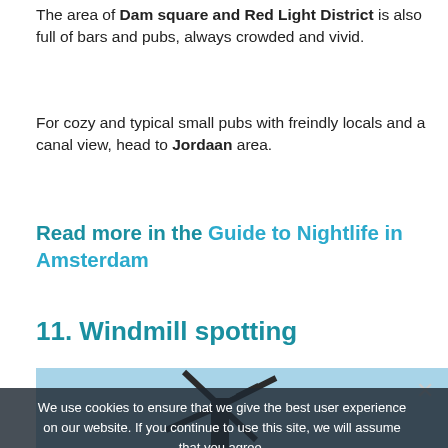The area of Dam square and Red Light District is also full of bars and pubs, always crowded and vivid.
For cozy and typical small pubs with freindly locals and a canal view, head to Jordaan area.
Read more in the Guide to Nightlife in Amsterdam
11. Windmill spotting
[Figure (photo): Photo of a windmill against a light blue sky, partially obscured by a cookie consent overlay]
We use cookies to ensure that we give the best user experience on our website. If you continue to use this site, we will assume that you agree.
Accept